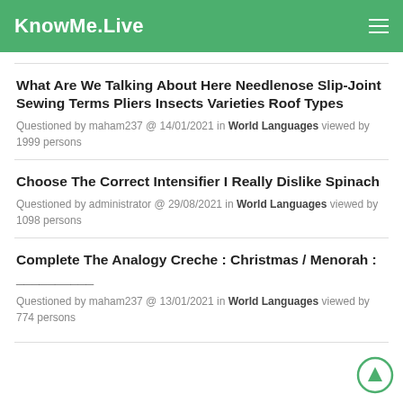KnowMe.Live
What Are We Talking About Here Needlenose Slip-Joint Sewing Terms Pliers Insects Varieties Roof Types
Questioned by maham237 @ 14/01/2021 in World Languages viewed by 1999 persons
Choose The Correct Intensifier I Really Dislike Spinach
Questioned by administrator @ 29/08/2021 in World Languages viewed by 1098 persons
Complete The Analogy Creche : Christmas / Menorah : __________
Questioned by maham237 @ 13/01/2021 in World Languages viewed by 774 persons